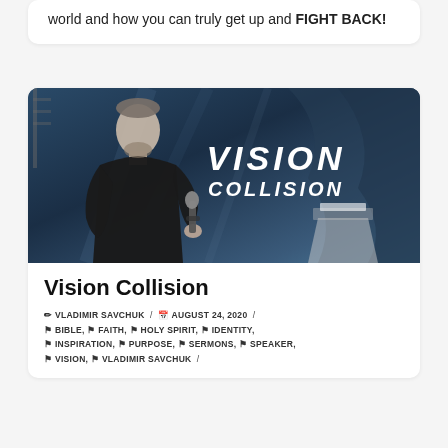world and how you can truly get up and FIGHT BACK!
[Figure (photo): A man in a black shirt holding a microphone on stage, with large text reading VISION COLLISION on a dark blue background behind him.]
Vision Collision
✏ VLADIMIR SAVCHUK / 📅 AUGUST 24, 2020 / 🔖 BIBLE, 🔖 FAITH, 🔖 HOLY SPIRIT, 🔖 IDENTITY, 🔖 INSPIRATION, 🔖 PURPOSE, 🔖 SERMONS, 🔖 SPEAKER, 🔖 VISION, 🔖 VLADIMIR SAVCHUK /